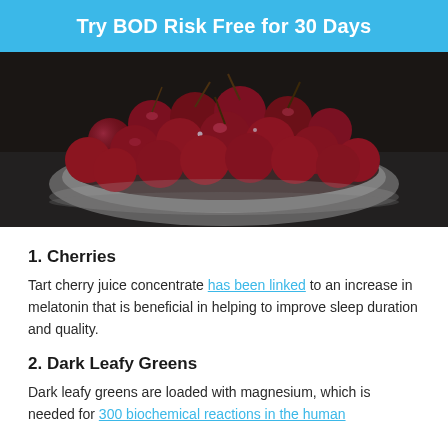Try BOD Risk Free for 30 Days
[Figure (photo): A bowl of fresh dark red cherries with stems, photographed close-up on a dark background]
1. Cherries
Tart cherry juice concentrate has been linked to an increase in melatonin that is beneficial in helping to improve sleep duration and quality.
2. Dark Leafy Greens
Dark leafy greens are loaded with magnesium, which is needed for 300 biochemical reactions in the human